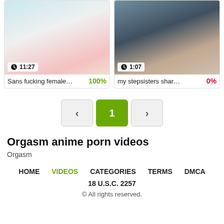[Figure (screenshot): Two video thumbnails side by side. Left: animated illustration with duration 11:27, title 'Sans fucking female...' with 100% rating. Right: 3D animated scene with duration 1:07, title 'my stepsisters shar...' with 0% rating.]
Sans fucking female...    100%
my stepsisters shar...    0%
< 1 >
Orgasm anime porn videos
Orgasm
HOME   VIDEOS   CATEGORIES   TERMS   DMCA
18 U.S.C. 2257
© All rights reserved.